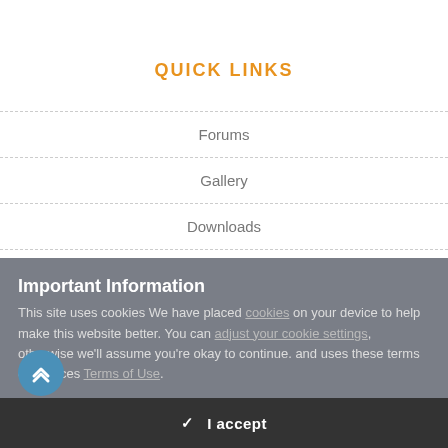QUICK LINKS
Forums
Gallery
Downloads
About
Important Information
This site uses cookies We have placed cookies on your device to help make this website better. You can adjust your cookie settings, otherwise we'll assume you're okay to continue. and uses these terms of services Terms of Use.
✓  I accept